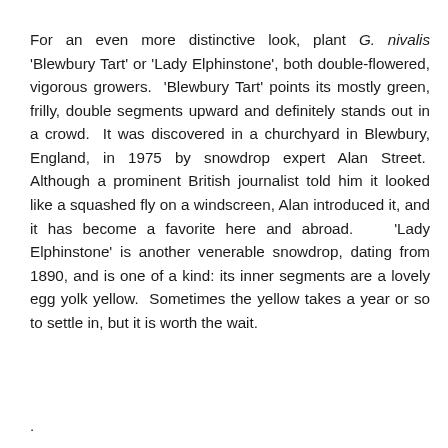For an even more distinctive look, plant G. nivalis 'Blewbury Tart' or 'Lady Elphinstone', both double-flowered, vigorous growers. 'Blewbury Tart' points its mostly green, frilly, double segments upward and definitely stands out in a crowd. It was discovered in a churchyard in Blewbury, England, in 1975 by snowdrop expert Alan Street. Although a prominent British journalist told him it looked like a squashed fly on a windscreen, Alan introduced it, and it has become a favorite here and abroad. 'Lady Elphinstone' is another venerable snowdrop, dating from 1890, and is one of a kind: its inner segments are a lovely egg yolk yellow. Sometimes the yellow takes a year or so to settle in, but it is worth the wait.
.